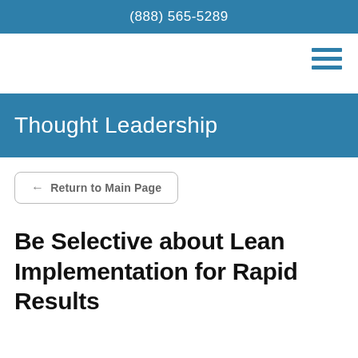(888) 565-5289
[Figure (other): Hamburger menu icon — three horizontal blue lines]
Thought Leadership
← Return to Main Page
Be Selective about Lean Implementation for Rapid Results